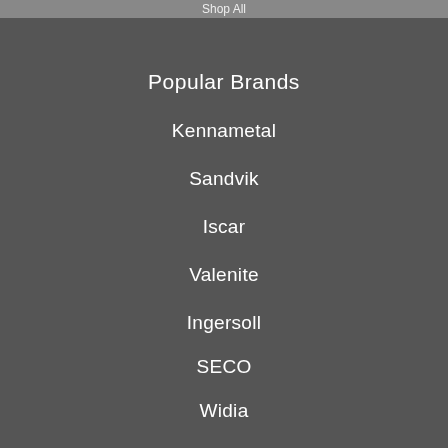Shop All
Popular Brands
Kennametal
Sandvik
Iscar
Valenite
Ingersoll
SECO
Widia
Walter
Kaiser
Komet
View All
Info